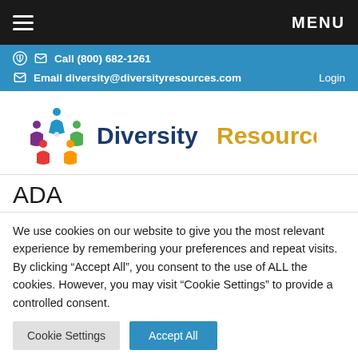MENU
Call (800) 682-1261
Email diversity@diversityresources.com  Login
[Figure (logo): DiversityResources logo with colorful people figures and text 'DiversityResources' in blue and gold]
ADA
We use cookies on our website to give you the most relevant experience by remembering your preferences and repeat visits. By clicking “Accept All”, you consent to the use of ALL the cookies. However, you may visit “Cookie Settings” to provide a controlled consent.
Cookie Settings   Accept All